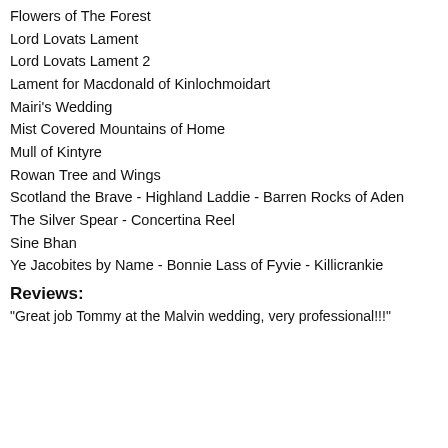Flowers of The Forest
Lord Lovats Lament
Lord Lovats Lament 2
Lament for Macdonald of Kinlochmoidart
Mairi's Wedding
Mist Covered Mountains of Home
Mull of Kintyre
Rowan Tree and Wings
Scotland the Brave - Highland Laddie - Barren Rocks of Aden
The Silver Spear - Concertina Reel
Sine Bhan
Ye Jacobites by Name - Bonnie Lass of Fyvie - Killicrankie
Reviews:
"Great job Tommy at the Malvin wedding, very professional!!!"